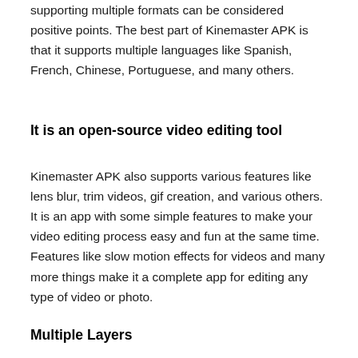supporting multiple formats can be considered positive points. The best part of Kinemaster APK is that it supports multiple languages like Spanish, French, Chinese, Portuguese, and many others.
It is an open-source video editing tool
Kinemaster APK also supports various features like lens blur, trim videos, gif creation, and various others. It is an app with some simple features to make your video editing process easy and fun at the same time. Features like slow motion effects for videos and many more things make it a complete app for editing any type of video or photo.
Multiple Layers